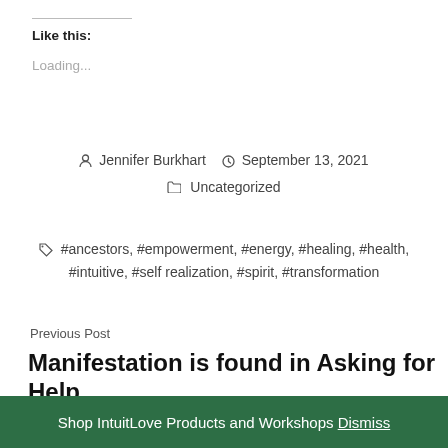Like this:
Loading...
Jennifer Burkhart   September 13, 2021   Uncategorized
#ancestors, #empowerment, #energy, #healing, #health, #intuitive, #self realization, #spirit, #transformation
Previous Post
Manifestation is found in Asking for Help...
Shop IntuitLove Products and Workshops Dismiss